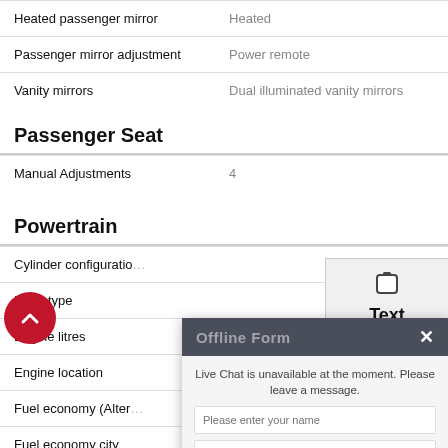| Feature | Value |
| --- | --- |
| Heated passenger mirror | Heated |
| Passenger mirror adjustment | Power remote |
| Vanity mirrors | Dual illuminated vanity mirrors |
Passenger Seat
| Feature | Value |
| --- | --- |
| Manual Adjustments | 4 |
Powertrain
| Feature | Value |
| --- | --- |
| Cylinder configuration |  |
| Drive type |  |
| Engine litres |  |
| Engine location |  |
| Fuel economy (Alter… |  |
| Fuel economy city |  |
| Fuel economy comb… |  |
| Fuel economy fuel t… |  |
| Fuel economy highw… |  |
| Fuel tank capacity | 98.4L |
[Figure (screenshot): Text Us widget button in gray]
[Figure (screenshot): Offline Form popup overlay with fields for name, email, phone, comment and a SUBMIT button]